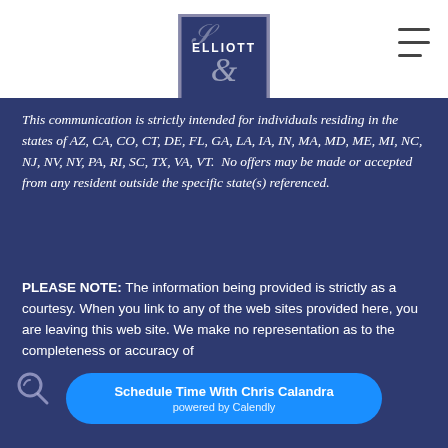[Figure (logo): Elliott company logo: dark blue square with decorative script E and ELLIOTT text in white]
This communication is strictly intended for individuals residing in the states of AZ, CA, CO, CT, DE, FL, GA, LA, IA, IN, MA, MD, ME, MI, NC, NJ, NV, NY, PA, RI, SC, TX, VA, VT. No offers may be made or accepted from any resident outside the specific state(s) referenced.
PLEASE NOTE: The information being provided is strictly as a courtesy. When you link to any of the web sites provided here, you are leaving this web site. We make no representation as to the completeness or accuracy of tion provid... y liable... system issues or any consequences arising out of your
[Figure (logo): Calendly button: Schedule Time With Chris Calandra powered by Calendly]